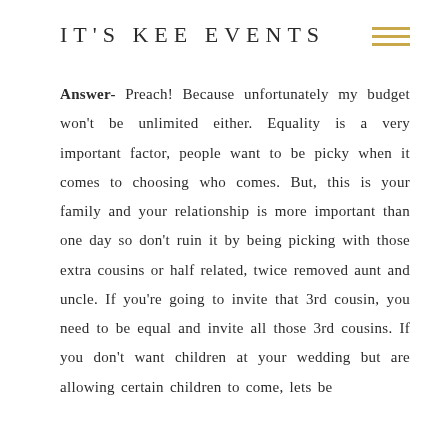IT'S KEE EVENTS
Answer- Preach! Because unfortunately my budget won't be unlimited either. Equality is a very important factor, people want to be picky when it comes to choosing who comes. But, this is your family and your relationship is more important than one day so don't ruin it by being picking with those extra cousins or half related, twice removed aunt and uncle. If you're going to invite that 3rd cousin, you need to be equal and invite all those 3rd cousins. If you don't want children at your wedding but are allowing certain children to come, lets be